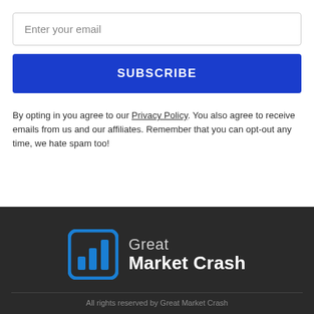Enter your email
SUBSCRIBE
By opting in you agree to our Privacy Policy. You also agree to receive emails from us and our affiliates. Remember that you can opt-out any time, we hate spam too!
[Figure (logo): Great Market Crash logo with blue bar chart icon and white text]
All rights reserved by Great Market Crash